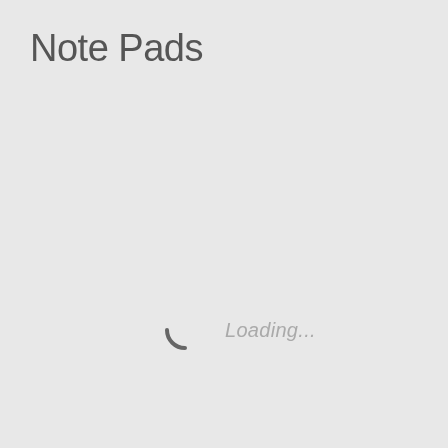Note Pads
[Figure (other): Loading spinner arc (partial circle arc in dark grey, bottom-left portion visible) with italic grey text 'Loading...' to the right]